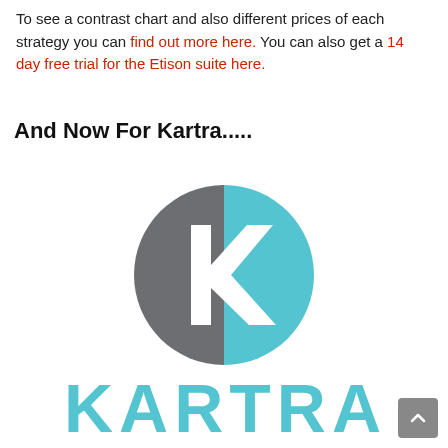To see a contrast chart and also different prices of each strategy you can find out more here. You can also get a 14 day free trial for the Etison suite here.
And Now For Kartra.....
[Figure (logo): Kartra logo: a circular icon with a grey left half and a light blue right half, with a white letter K in the center, above the word KARTRA in large light blue letters]